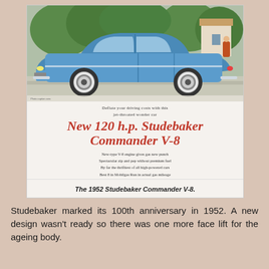[Figure (photo): Vintage 1952 Studebaker Commander V-8 advertisement showing a blue car parked outside with trees in background. Ad text reads: 'Deflate your driving costs with this jet-throated wonder car — New 120 h.p. Studebaker Commander V-8' with bullet points about the engine features.]
The 1952 Studebaker Commander V-8.
Studebaker marked its 100th anniversary in 1952. A new design wasn't ready so there was one more face lift for the ageing body.